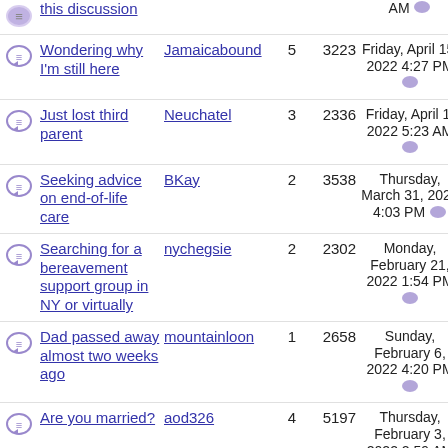this discussion | Jamaicabound | 5 | 3223 | Friday, April 15, 2022 4:27 PM
Wondering why I'm still here | Jamaicabound | 5 | 3223 | Friday, April 15, 2022 4:27 PM
Just lost third parent | Neuchatel | 3 | 2336 | Friday, April 1, 2022 5:23 AM
Seeking advice on end-of-life care | BKay | 2 | 3538 | Thursday, March 31, 2022 4:03 PM
Searching for a bereavement support group in NY or virtually | nychegsie | 2 | 2302 | Monday, February 21, 2022 1:54 PM
Dad passed away almost two weeks ago | mountainloon | 1 | 2658 | Sunday, February 6, 2022 4:20 PM
Are you married? | aod326 | 4 | 5197 | Thursday, February 3, 2022 2:59 AM
It just never goes | Mike&BrendaTX | 5 | 3141 | Thursday, February 3,